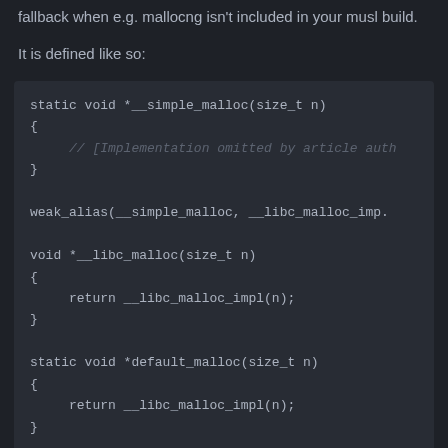fallback when e.g. mallocng isn't included in your musl build.
It is defined like so: